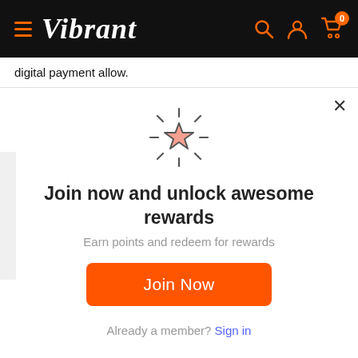Vibrant
digital payment allow.
[Figure (illustration): Glowing star icon with rays radiating outward, pink/salmon fill with dark outline]
Join now and unlock awesome rewards
Earn points and redeem for rewards
Join Now
Already a member? Sign in